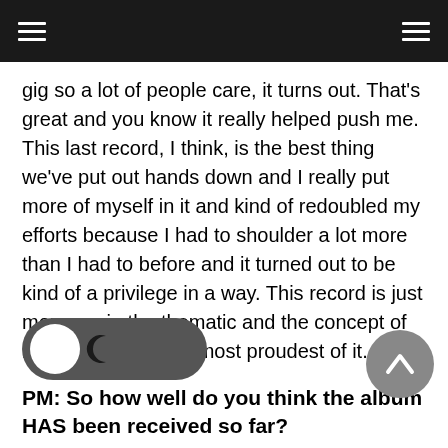≡   ≡
gig so a lot of people care, it turns out. That's great and you know it really helped push me. This last record, I think, is the best thing we've put out hands down and I really put more of myself in it and kind of redoubled my efforts because I had to shoulder a lot more than I had to before and it turned out to be kind of a privilege in a way. This record is just more me in the thematic and the concept of it. And so thus I am most proudest of it.
PM: So how well do you think the album HAS been received so far?
JK: [best] reviews we've had on a record and I think it's easy to see why because the song writing and the playing and the production is the best